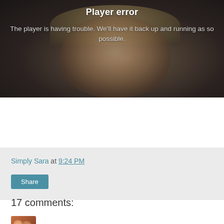[Figure (screenshot): Video player error screen showing a blurred face in background with 'Player error' title and error message text overlay]
Simply Sara at 9:24 PM
Share
17 comments:
Kristen May 17, 2011 at 8:16 AM